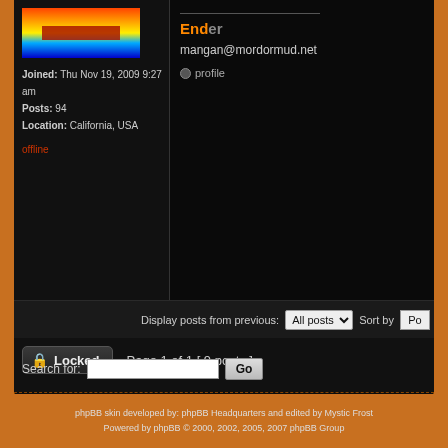Joined: Thu Nov 19, 2009 9:27 am
Posts: 94
Location: California, USA
offline
Ender
mangan@mordormud.net
profile
Display posts from previous: All posts Sort by Po
Locked  Page 1 of 1 [ 9 posts ]
Board index » General Chat » Mordor Design and Systems
Who is online
Users browsing this forum: No registered users and 1 guest
Search for:
phpBB skin developed by: phpBB Headquarters and edited by Mystic Frost
Powered by phpBB © 2000, 2002, 2005, 2007 phpBB Group